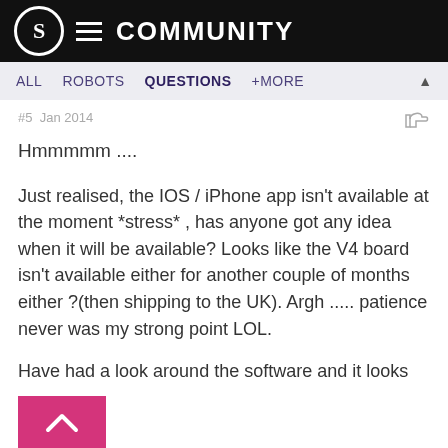S COMMUNITY
ALL  ROBOTS  QUESTIONS  +MORE
#5  Jan 2014
Hmmmmm ....
Just realised, the IOS / iPhone app isn't available at the moment *stress* , has anyone got any idea when it will be available? Looks like the V4 board isn't available either for another couple of months either ?(then shipping to the UK). Argh ..... patience never was my strong point LOL.
Have had a look around the software and it looks really good so far. I was hoping that there would be more 3D files, but it doesn't look like there's many at all.